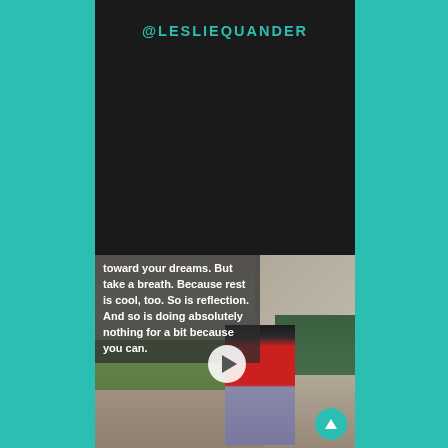@LESLIEQUANDER
[Figure (screenshot): Social media video screenshot showing a woman in a red top sitting on a stone wall outdoors, with text overlay reading: 'toward your dreams. But take a breath. Because rest is cool, too. So is reflection. And so is doing absolutely nothing for a bit because you can.' A play button is visible in the center, and a teal up-arrow button in the bottom right corner.]